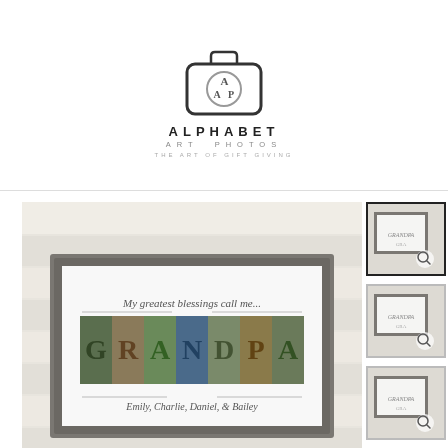[Figure (logo): Alphabet Art Photos logo — camera icon outline with AAP monogram letters inside, below it ALPHABET in bold spaced caps, ART PHOTOS in lighter spaced caps, and tagline THE ART OF GIFT GIVING]
[Figure (photo): Main product photo: framed GRANDPA alphabet art print with text 'My greatest blessings call me...' above letter photos spelling GRANDPA, and 'Emily, Charlie, Daniel, & Bailey' below, in a gray barnwood frame]
[Figure (photo): Thumbnail 1: small preview of the same GRANDPA framed print with zoom icon]
[Figure (photo): Thumbnail 2: small preview of the same GRANDPA framed print with zoom icon]
[Figure (photo): Thumbnail 3: small preview of the same GRANDPA framed print with zoom icon]